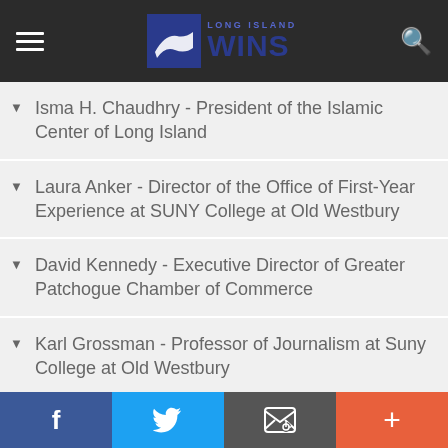Long Island WINS
Isma H. Chaudhry - President of the Islamic Center of Long Island
Laura Anker - Director of the Office of First-Year Experience at SUNY College at Old Westbury
David Kennedy - Executive Director of Greater Patchogue Chamber of Commerce
Karl Grossman - Professor of Journalism at Suny College at Old Westbury
Michael D’Innocenzo - Professor Emeritus of History and Founding Member of Hofstra Center for Civic Engagement
f  Twitter  Email  +